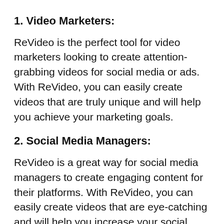1. Video Marketers:
ReVideo is the perfect tool for video marketers looking to create attention-grabbing videos for social media or ads. With ReVideo, you can easily create videos that are truly unique and will help you achieve your marketing goals.
2. Social Media Managers:
ReVideo is a great way for social media managers to create engaging content for their platforms. With ReVideo, you can easily create videos that are eye-catching and will help you increase your social media following.